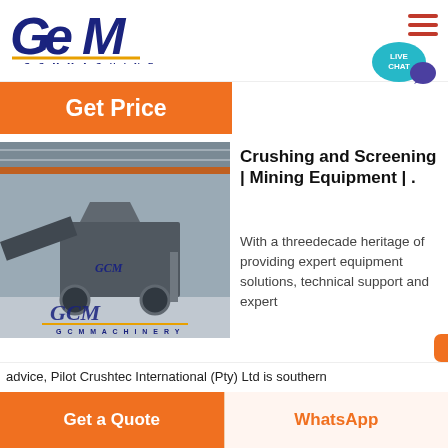[Figure (logo): GCM Machinery logo with blue italic lettering and gold underline]
Get Price
[Figure (photo): Industrial mobile crushing and screening equipment (GCM Machinery) inside a large factory warehouse]
Crushing and Screening | Mining Equipment | .
With a threedecade heritage of providing expert equipment solutions, technical support and expert advice, Pilot Crushtec International (Pty) Ltd is southern
Get a Quote
WhatsApp